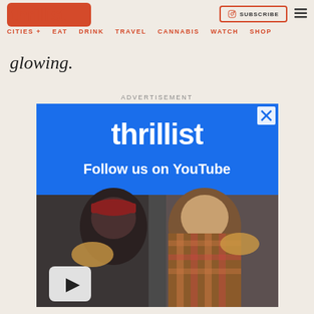thrillist | CITIES + | EAT | DRINK | TRAVEL | CANNABIS | WATCH | SHOP | SUBSCRIBE
glowing.
ADVERTISEMENT
[Figure (screenshot): Thrillist advertisement banner showing the Thrillist logo on blue background with text 'Follow us on YouTube' and a photo of two men eating pizza with a YouTube play button overlay]